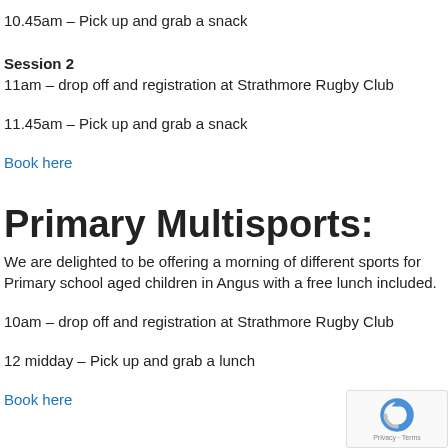10.45am – Pick up and grab a snack
Session 2
11am – drop off and registration at Strathmore Rugby Club
11.45am – Pick up and grab a snack
Book here
Primary Multisports:
We are delighted to be offering a morning of different sports for Primary school aged children in Angus with a free lunch included.
10am – drop off and registration at Strathmore Rugby Club
12 midday – Pick up and grab a lunch
Book here